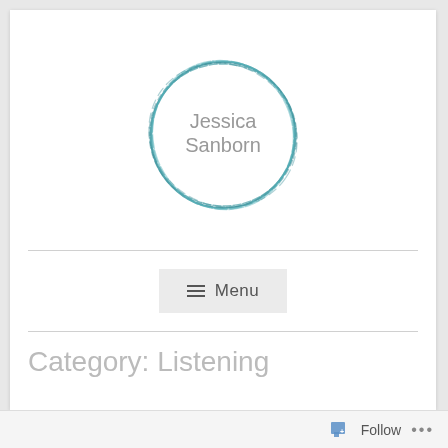[Figure (logo): Circular hand-drawn style teal/turquoise ring logo with text 'Jessica Sanborn' in gray inside]
≡  Menu
Category: Listening
Follow ...